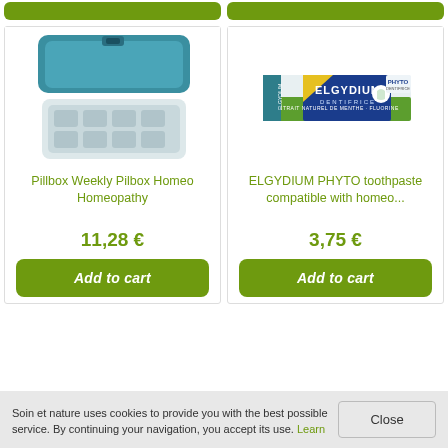[Figure (photo): Teal/white weekly pillbox organizer, open, showing compartments]
[Figure (photo): Elgydium Phyto toothpaste box, green and blue packaging]
Pillbox Weekly Pilbox Homeo Homeopathy
ELGYDIUM PHYTO toothpaste compatible with homeo...
11,28 €
3,75 €
Add to cart
Add to cart
Soin et nature uses cookies to provide you with the best possible service. By continuing your navigation, you accept its use. Learn
Close